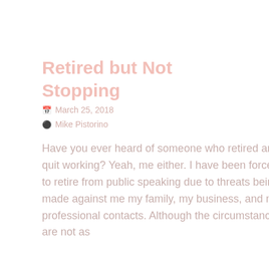Retired but Not Stopping
March 25, 2018
Mike Pistorino
Have you ever heard of someone who retired and quit working? Yeah, me either. I have been forced to retire from public speaking due to threats being made against me my family, my business, and my professional contacts. Although the circumstances are not as